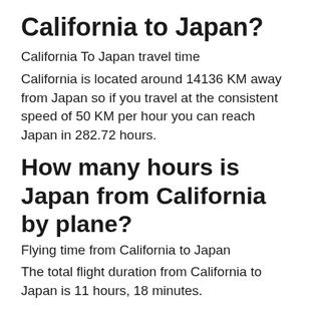California to Japan?
California To Japan travel time
California is located around 14136 KM away from Japan so if you travel at the consistent speed of 50 KM per hour you can reach Japan in 282.72 hours.
How many hours is Japan from California by plane?
Flying time from California to Japan
The total flight duration from California to Japan is 11 hours, 18 minutes.